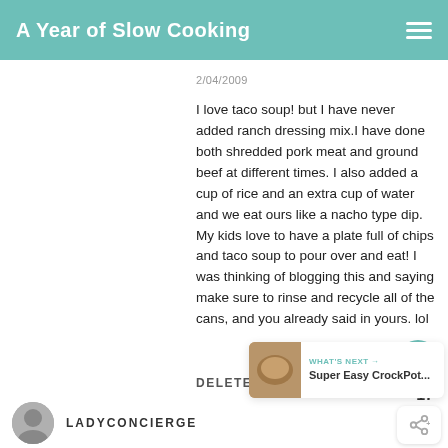A Year of Slow Cooking
2/04/2009
I love taco soup! but I have never added ranch dressing mix.I have done both shredded pork meat and ground beef at different times. I also added a cup of rice and an extra cup of water and we eat ours like a nacho type dip. My kids love to have a plate full of chips and taco soup to pour over and eat! I was thinking of blogging this and saying make sure to rinse and recycle all of the cans, and you already said in yours. lol
DELETE
17
WHAT'S NEXT → Super Easy CrockPot...
LADYCONCIERGE